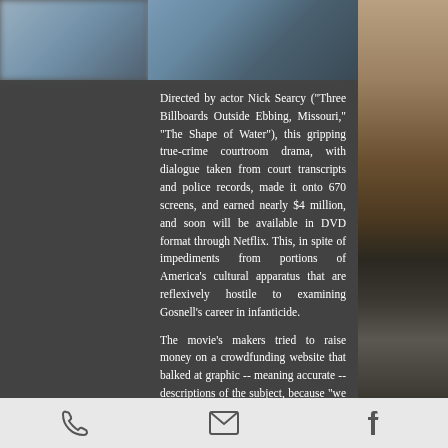[Figure (photo): Blurred background photo at top of page, dark grey/blue tones]
Directed by actor Nick Searcy ("Three Billboards Outside Ebbing, Missouri," "The Shape of Water"), this gripping true-crime courtroom drama, with dialogue taken from court transcripts and police records, made it onto 670 screens, and earned nearly $4 million, and soon will be available in DVD format through Netflix. This, in spite of impediments from portions of America's cultural apparatus that are reflexively hostile to examining Gosnell's career in infanticide.
The movie's makers tried to raise money on a crowdfunding website that balked at graphic -- meaning accurate -- descriptions of the subject, because "we are a broad website used by millions of people." However, a
[Figure (photo): Right side photo showing city skyline with dramatic cloudy sky and water in foreground, sepia/dark tones]
Phone | Email | Facebook icons toolbar